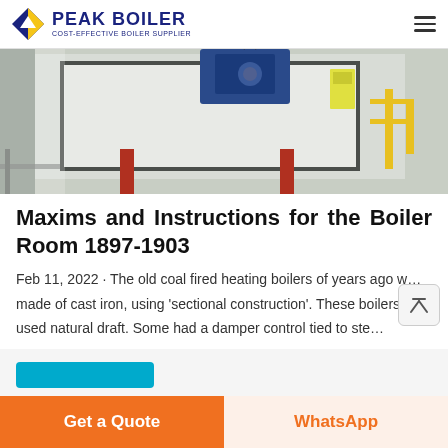PEAK BOILER COST-EFFECTIVE BOILER SUPPLIER
[Figure (photo): Industrial boiler room showing a large white rectangular boiler unit with blue motor/burner assembly on top, mounted on red supports, with yellow safety rail visible in background. Indoor industrial facility setting.]
Maxims and Instructions for the Boiler Room 1897-1903
Feb 11, 2022 · The old coal fired heating boilers of years ago were made of cast iron, using 'sectional construction'. These boilers used natural draft. Some had a damper control tied to ste…